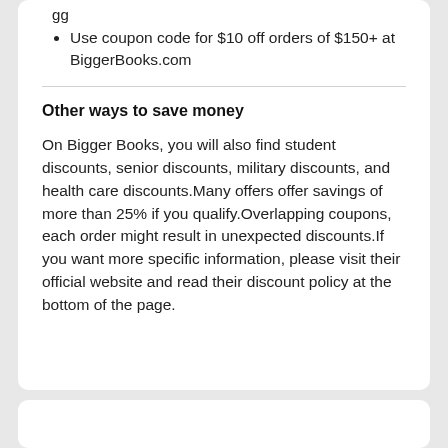Use coupon code for $10 off orders of $150+ at BiggerBooks.com
Other ways to save money
On Bigger Books, you will also find student discounts, senior discounts, military discounts, and health care discounts.Many offers offer savings of more than 25% if you qualify.Overlapping coupons, each order might result in unexpected discounts.If you want more specific information, please visit their official website and read their discount policy at the bottom of the page.